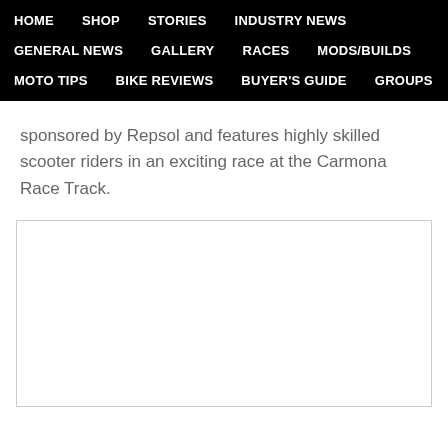HOME  SHOP  STORIES  INDUSTRY NEWS  GENERAL NEWS  GALLERY  RACES  MODS/BUILDS  MOTO TIPS  BIKE REVIEWS  BUYER'S GUIDE  GROUPS
sponsored by Repsol and features highly skilled scooter riders in an exciting race at the Carmona Race Track.
[Figure (other): Blank white image placeholder with light gray border]